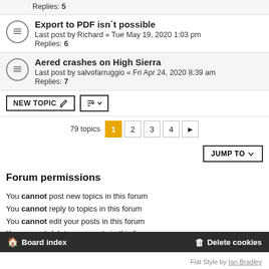Replies: 5
Export to PDF isn't possible
Last post by Richard « Tue May 19, 2020 1:03 pm
Replies: 6
Aered crashes on High Sierra
Last post by salvofarruggio « Fri Apr 24, 2020 8:39 am
Replies: 7
NEW TOPIC  |sort| 79 topics  1  2  3  4  >
JUMP TO
Forum permissions
You cannot post new topics in this forum
You cannot reply to topics in this forum
You cannot edit your posts in this forum
You cannot delete your posts in this forum
You cannot post attachments in this forum
Board index   Delete cookies
Flat Style by Ian Bradley